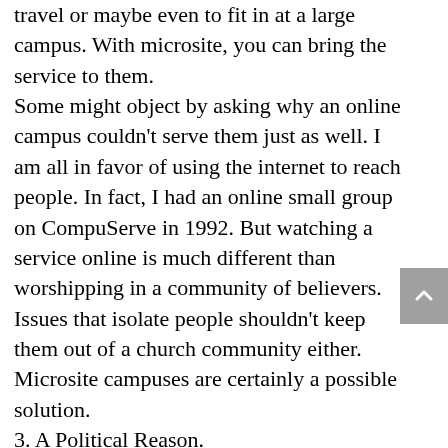travel or maybe even to fit in at a large campus. With microsite, you can bring the service to them.
Some might object by asking why an online campus couldn't serve them just as well. I am all in favor of using the internet to reach people. In fact, I had an online small group on CompuServe in 1992. But watching a service online is much different than worshipping in a community of believers. Issues that isolate people shouldn't keep them out of a church community either. Microsite campuses are certainly a possible solution.
3. A Political Reason.
I spent some time with the pastors of an awesome, rapidly growing megachurch in a metropolitan area recently. They are reaching